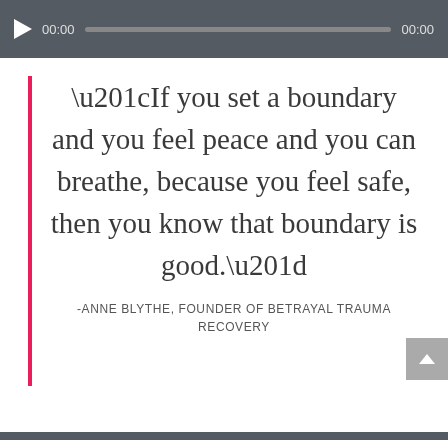[Figure (screenshot): Audio player bar with play button, time display 00:00, progress track, and end time 00:00 on dark gray background]
“If you set a boundary and you feel peace and you can breathe, because you feel safe, then you know that boundary is good.”
-ANNE BLYTHE, FOUNDER OF BETRAYAL TRAUMA RECOVERY